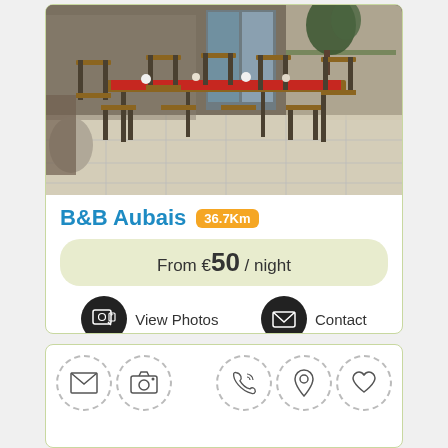[Figure (photo): Outdoor patio/terrace with wooden chairs and a long table covered with a red tablecloth, set for dining, against a stone wall background]
B&B Aubais 36.7Km
From €50 / night
View Photos
Contact
[Figure (infographic): Bottom card showing dashed-circle icon buttons: envelope, camera, phone, map pin, heart]